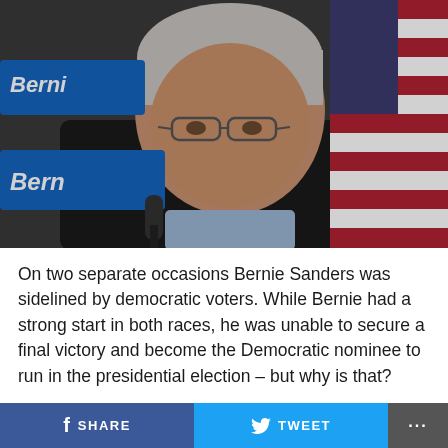[Figure (photo): Bernie Sanders speaking at a podium microphone, wearing a dark suit jacket, looking downward. Bernie campaign signs visible in the background along with an American flag.]
On two separate occasions Bernie Sanders was sidelined by democratic voters. While Bernie had a strong start in both races, he was unable to secure a final victory and become the Democratic nominee to run in the presidential election – but why is that?
f SHARE   🐦 TWEET   ...